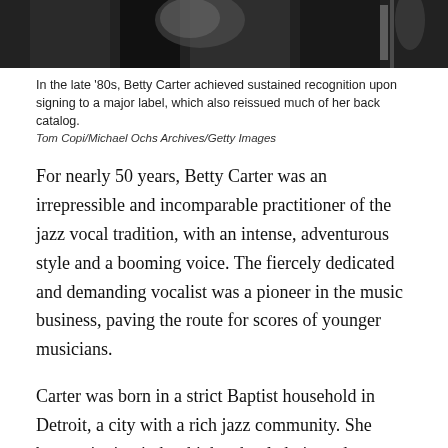[Figure (photo): Black and white photograph of Betty Carter performing, partially visible at top of page]
In the late ’80s, Betty Carter achieved sustained recognition upon signing to a major label, which also reissued much of her back catalog.
Tom Copi/Michael Ochs Archives/Getty Images
For nearly 50 years, Betty Carter was an irrepressible and incomparable practitioner of the jazz vocal tradition, with an intense, adventurous style and a booming voice. The fiercely dedicated and demanding vocalist was a pioneer in the music business, paving the route for scores of younger musicians.
Carter was born in a strict Baptist household in Detroit, a city with a rich jazz community. She began singing in her high-school choir, and was later exposed to bebop, a style just emerging in her teenage years. She loved it instantly, and while still in her teens, she had the opportunity to sing with